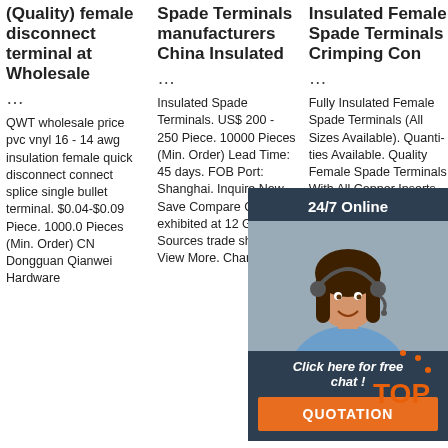(Quality) female disconnect terminal at Wholesale ...
Spade Terminals manufacturers China Insulated ...
Insulated Female Spade Terminals Crimping Con ...
QWT wholesale price pvc vnyl 16 - 14 awg insulation female quick disconnect connect splice single bullet terminal. $0.04-$0.09 Piece. 1000.0 Pieces (Min. Order) CN Dongguan Qianwei Hardware
Insulated Spade Terminals. US$ 200 - 250 Piece. 10000 Pieces (Min. Order) Lead Time: 45 days. FOB Port: Shanghai. Inquire Now Save Compare Chat. We exhibited at 12 Global Sources trade shows View More. Changhong
Fully Insulated Female Spade Terminals (All Sizes Available). Quantities Available. Quality Female Spade Terminals With All Copper Inserts. Sizes available: 2.8mm - 9.5mm. Quantities Available: 10, 25, 50, 100, 250, 500 & 1000. Available
[Figure (photo): Customer service woman with headset, overlaid on dark blue panel with '24/7 Online' header, 'Click here for free chat!' text, and orange QUOTATION button]
[Figure (logo): Orange TOP badge with decorative dots]